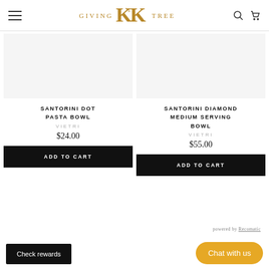Giving K&K's Tree — navigation header with hamburger menu, logo, search and cart icons
[Figure (logo): Giving K&K's Tree logo in gold with stylized K letters]
SANTORINI DOT PASTA BOWL
VIETRI
$24.00
SANTORINI DIAMOND MEDIUM SERVING BOWL
VIETRI
$55.00
ADD TO CART
ADD TO CART
powered by Recomatic
Chat with us
Check rewards